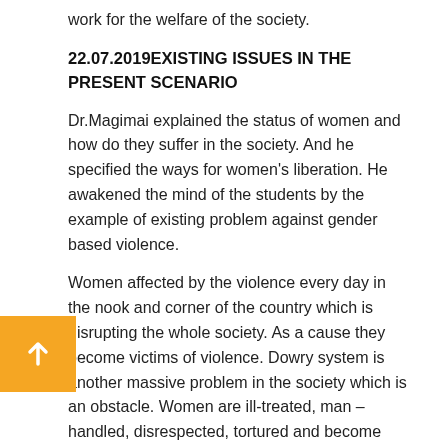work for the welfare of the society.
22.07.2019EXISTING ISSUES IN THE PRESENT SCENARIO
Dr.Magimai explained the status of women and how do they suffer in the society. And he specified the ways for women's liberation. He awakened the mind of the students by the example of existing problem against gender based violence.
Women affected by the violence every day in the nook and corner of the country which is disrupting the whole society. As a cause they become victims of violence. Dowry system is another massive problem in the society which is an obstacle. Women are ill-treated, man –handled, disrespected, tortured and become slave of men. It causes degradation of women's status to a great extent.
h the motto to retrieve the cultural heritage of our land and to bring out the hidden talents and skills the folk lore is taught to the students and it is to use for the welfare of the society.